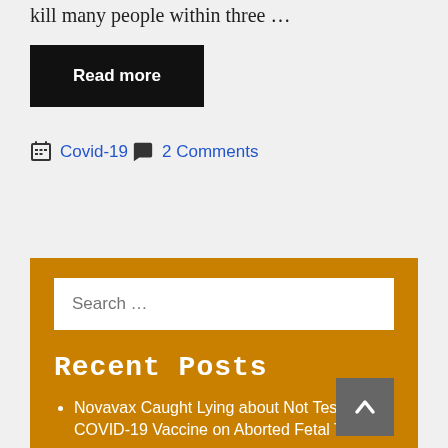kill many people within three …
Read more
Covid-19
2 Comments
Search …
Recent Posts
Novavax Caught Lying about Not Testing its COVID-19 Vaccine on Aborted Fetal Tissues